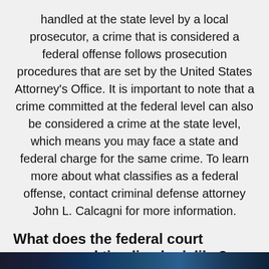handled at the state level by a local prosecutor, a crime that is considered a federal offense follows prosecution procedures that are set by the United States Attorney's Office. It is important to note that a crime committed at the federal level can also be considered a crime at the state level, which means you may face a state and federal charge for the same crime. To learn more about what classifies as a federal offense, contact criminal defense attorney John L. Calcagni for more information.
What does the federal court process and timeline look like?
[Figure (photo): Dark blue/teal photographic image strip at the bottom of the page]